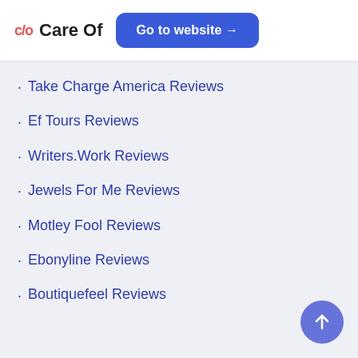c/o  Care Of  Go to website →
Take Charge America Reviews
Ef Tours Reviews
Writers.Work Reviews
Jewels For Me Reviews
Motley Fool Reviews
Ebonyline Reviews
Boutiquefeel Reviews